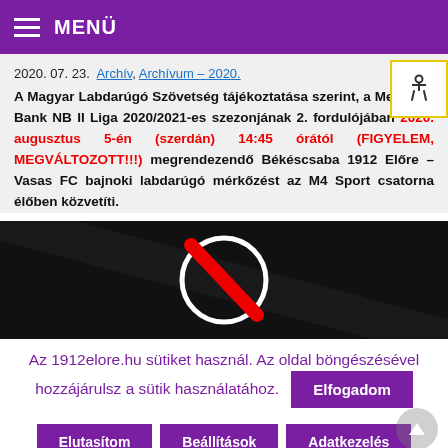MENÜ
2020. 07. 23.  Archív, Archívum – 2020.
A Magyar Labdarúgó Szövetség tájékoztatása szerint, a Merkantil Bank NB II Liga 2020/2021-es szezonjának 2. fordulójában 2020. augusztus 5-én (szerdán) 14:45 órától (FIGYELEM, MEGVÁLTOZOTT!!!) megrendezendő Békéscsaba 1912 Előre – Vasas FC bajnoki labdarúgó mérkőzést az M4 Sport csatorna élőben közvetíti.
[Figure (photo): Dark background with circular logo featuring red diagonal stripe, Vasas FC imagery]
Az 1912elore.hu sütiket használ. Az oldal böngészésével hozzájárulsz a sütik használatához.
Elfogadom
Elutasítom
Beállítások
Adatkezelés